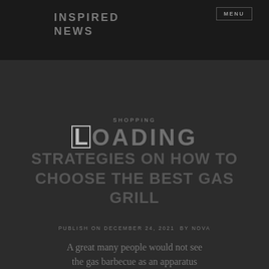INSPIRED NEWS
SHOPPING
LOADING STRATEGIES ON HOW TO CHOOSE THE BEST GAS GRILL
PUBLISH ON DECEMBER 24, 2021  BY NOVA
A great many people would not see the gas barbecue as an apparatus